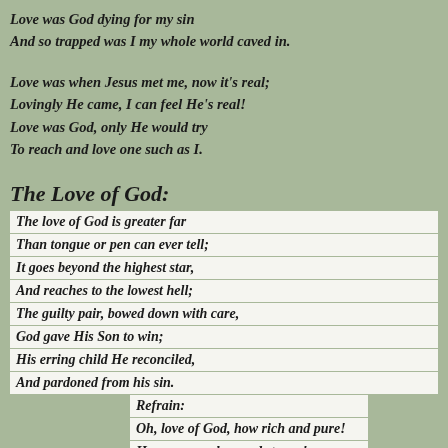Love was God dying for my sin
And so trapped was I my whole world caved in.
Love was when Jesus met me, now it's real;
Lovingly He came, I can feel He's real!
Love was God, only He would try
To reach and love one such as I.
The Love of God:
The love of God is greater far
Than tongue or pen can ever tell;
It goes beyond the highest star,
And reaches to the lowest hell;
The guilty pair, bowed down with care,
God gave His Son to win;
His erring child He reconciled,
And pardoned from his sin.
Refrain:
Oh, love of God, how rich and pure!
How measureless and strong!
It shall forevermore endure—
The saints' and angels' song.
When hoary time shall pass away,
And earthly thrones and kingdoms fall,
When men who here refuse to pray,